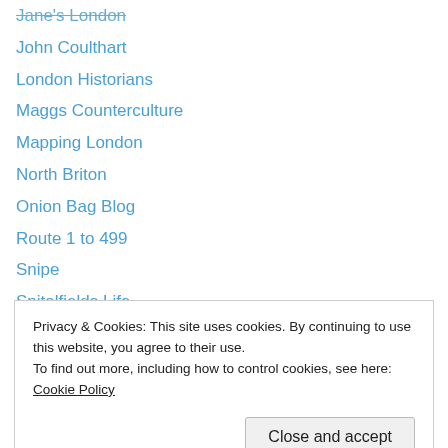Jane's London
John Coulthart
London Historians
Maggs Counterculture
Mapping London
North Briton
Onion Bag Blog
Route 1 to 499
Snipe
Spitalfields Life
Tales Of The City
The Cabbie's Capital
The Cheapside Standard
The Library Time Machine
Privacy & Cookies: This site uses cookies. By continuing to use this website, you agree to their use.
To find out more, including how to control cookies, see here: Cookie Policy
Wanderlust